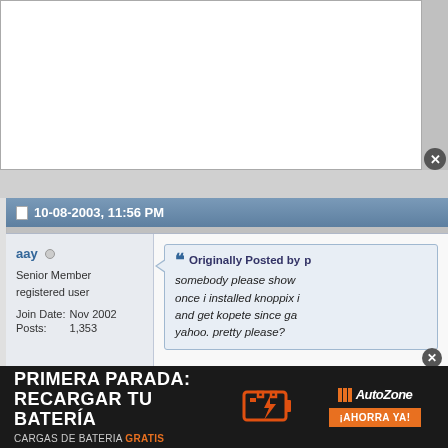[Figure (screenshot): White browser/ad area at top of page with close button (X)]
10-08-2003, 11:56 PM
aay
Senior Member
registered user
Join Date: Nov 2002
Posts: 1,353
Originally Posted by p
somebody please show once i installed knoppix i and get kopete since ga yahoo. pretty please?
Do you really need to update Kl
If you're having problems gettin
apt-get update
[Figure (advertisement): AutoZone advertisement - PRIMERA PARADA: RECARGAR TU BATERÍA, CARGAS DE BATERIA GRATIS, battery icon, AutoZone logo, ¡AHORRA YA!]